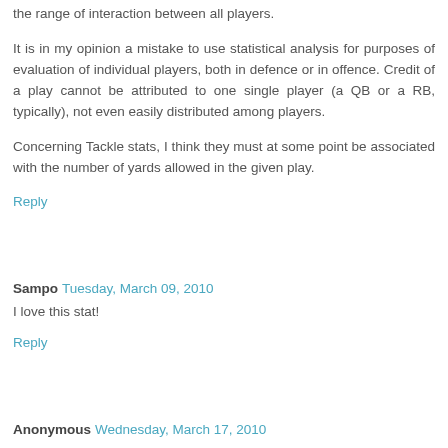the range of interaction between all players.
It is in my opinion a mistake to use statistical analysis for purposes of evaluation of individual players, both in defence or in offence. Credit of a play cannot be attributed to one single player (a QB or a RB, typically), not even easily distributed among players.
Concerning Tackle stats, I think they must at some point be associated with the number of yards allowed in the given play.
Reply
Sampo  Tuesday, March 09, 2010
I love this stat!
Reply
Anonymous  Wednesday, March 17, 2010